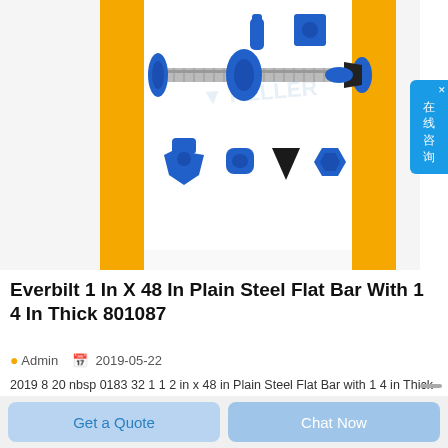[Figure (photo): Product photo of Everbilt steel flat bar hardware components including threaded rod and blue plastic fittings/connectors on white background with yellow border bars and KELLER watermark]
Everbilt 1 In X 48 In Plain Steel Flat Bar With 1 4 In Thick 801087
Admin   2019-05-22
2019 8 20 nbsp 0183 32 1 1 2 in x 48 in Plain Steel Flat Bar with 1 4 in Thick Flat bars are generally used as support braces Flat bars are generally used as
Get a Quote
Chat Now